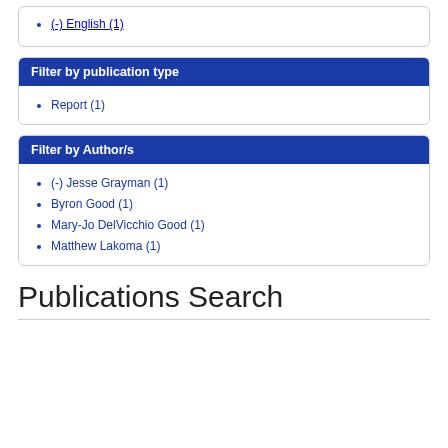(-) English (1)
Filter by publication type
Report (1)
Filter by Author/s
(-) Jesse Grayman (1)
Byron Good (1)
Mary-Jo DelVicchio Good (1)
Matthew Lakoma (1)
Publications Search